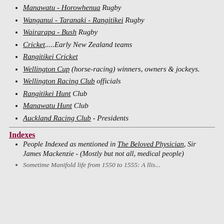Manawatu - Horowhenua Rugby
Wanganui - Taranaki - Rangitikei Rugby
Wairarapa - Bush Rugby
Cricket.....Early New Zealand teams
Rangitikei Cricket
Wellington Cup (horse-racing) winners, owners & jockeys.
Wellington Racing Club officials
Rangitikei Hunt Club
Manawatu Hunt Club
Auckland Racing Club - Presidents
Indexes
People Indexed as mentioned in The Beloved Physician, Sir James Mackenzie - (Mostly but not all, medical people)
Sometime Manifold life from 1550 to 1555: A lifer...